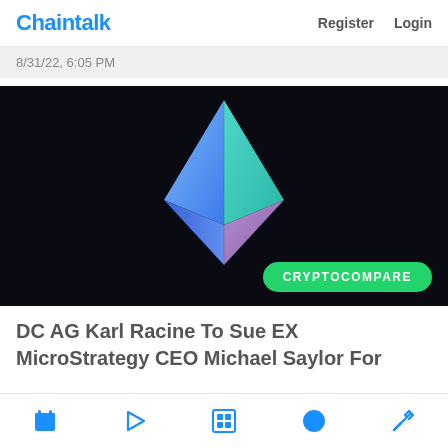Chaintalk  Register  Login
8/31/22, 6:05 PM
[Figure (illustration): Dark background with a 3D geometric Ethereum-style diamond/pyramid logo in blue, teal, and purple gradient colors. A green badge labeled CRYPTOCOMPARE is overlaid at the bottom right.]
DC AG Karl Racine To Sue EX MicroStrategy CEO Michael Saylor For